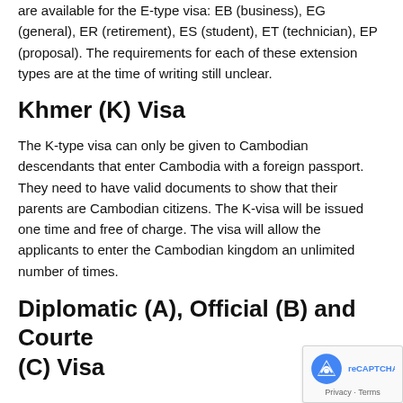are available for the E-type visa: EB (business), EG (general), ER (retirement), ES (student), ET (technician), EP (proposal). The requirements for each of these extension types are at the time of writing still unclear.
Khmer (K) Visa
The K-type visa can only be given to Cambodian descendants that enter Cambodia with a foreign passport. They need to have valid documents to show that their parents are Cambodian citizens. The K-visa will be issued one time and free of charge. The visa will allow the applicants to enter the Cambodian kingdom an unlimited number of times.
Diplomatic (A), Official (B) and Courtesy (C) Visa